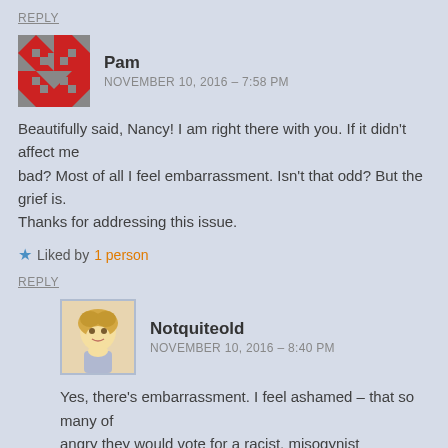REPLY
Pam
NOVEMBER 10, 2016 – 7:58 PM
Beautifully said, Nancy! I am right there with you. If it didn't affect me bad? Most of all I feel embarrassment. Isn't that odd? But the grief is. Thanks for addressing this issue.
Liked by 1 person
REPLY
Notquiteold
NOVEMBER 10, 2016 – 8:40 PM
Yes, there's embarrassment. I feel ashamed – that so many of angry they would vote for a racist, misogynist narcissist.... but of my fellow citizens were that angry and we didn't even see it